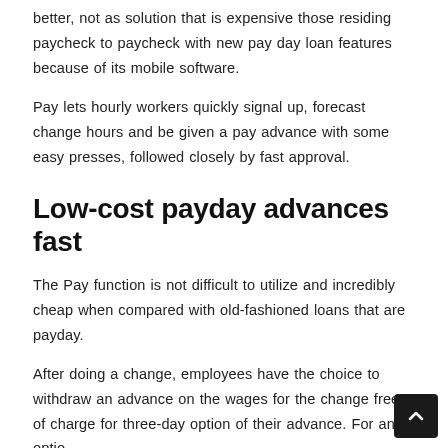better, not as solution that is expensive those residing paycheck to paycheck with new pay day loan features because of its mobile software.
Pay lets hourly workers quickly signal up, forecast change hours and be given a pay advance with some easy presses, followed closely by fast approval.
Low-cost payday advances fast
The Pay function is not difficult to utilize and incredibly cheap when compared with old-fashioned loans that are payday.
After doing a change, employees have the choice to withdraw an advance on the wages for the change free of charge for three-day option of their advance. For an optio… $3.99 charge, employees can immediately receive their…